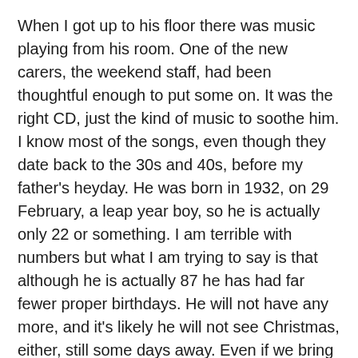When I got up to his floor there was music playing from his room. One of the new carers, the weekend staff, had been thoughtful enough to put some on. It was the right CD, just the kind of music to soothe him. I know most of the songs, even though they date back to the 30s and 40s, before my father's heyday. He was born in 1932, on 29 February, a leap year boy, so he is actually only 22 or something. I am terrible with numbers but what I am trying to say is that although he is actually 87 he has had far fewer proper birthdays. He will not have any more, and it's likely he will not see Christmas, either, still some days away. Even if we bring it forward, as we may well do.
The resident is quiet now, but I can hear movement in the corridor, and the clanking of a metal trolley as one of the night staff goes from room to room, doing obs. No one has been in here for a while now. I can smell the strawberries I bought.
To reconstruct the morning is not what I mean to do. The changing of the guard, of the continence pads. But when my sister arrived he accepted a few teaspoons of the rhubarb...